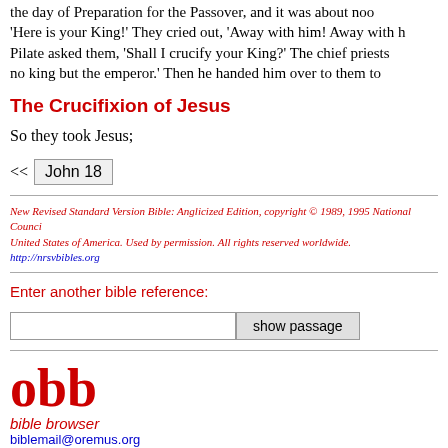the day of Preparation for the Passover, and it was about noo 'Here is your King!' They cried out, 'Away with him! Away with h Pilate asked them, 'Shall I crucify your King?' The chief priests no king but the emperor.' Then he handed him over to them to
The Crucifixion of Jesus
So they took Jesus;
<< John 18
New Revised Standard Version Bible: Anglicized Edition, copyright © 1989, 1995 National Counci United States of America. Used by permission. All rights reserved worldwide. http://nrsvbibles.org
Enter another bible reference:
[input] show passage
[Figure (logo): obb bible browser logo with text: obb, bible browser, biblemail@oremus.org, v 2.9.2, 30 June 2021]